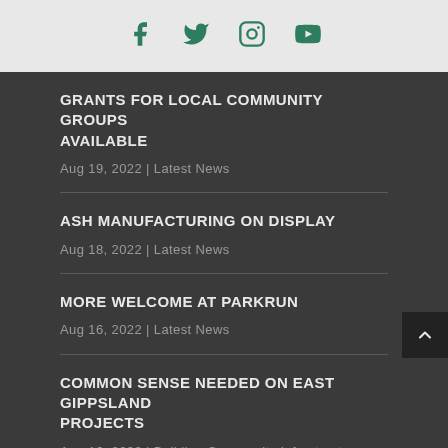Social media icons: Facebook, Twitter, Instagram, YouTube
GRANTS FOR LOCAL COMMUNITY GROUPS AVAILABLE
Aug 19, 2022 | Latest News
ASH MANUFACTURING ON DISPLAY
Aug 18, 2022 | Latest News
MORE WELCOME AT PARKRUN
Aug 16, 2022 | Latest News
COMMON SENSE NEEDED ON EAST GIPPSLAND PROJECTS
Aug 16, 2022 | Building Community Infrastructure, Latest News
MORE LAKES ENTRANCE PROJECTS TO COME
Aug 16, 2022 | Building Community Infrastructure